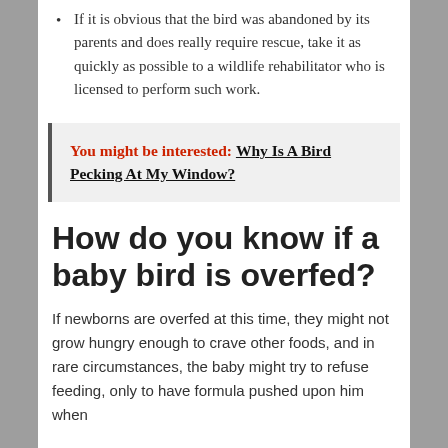If it is obvious that the bird was abandoned by its parents and does really require rescue, take it as quickly as possible to a wildlife rehabilitator who is licensed to perform such work.
You might be interested: Why Is A Bird Pecking At My Window?
How do you know if a baby bird is overfed?
If newborns are overfed at this time, they might not grow hungry enough to crave other foods, and in rare circumstances, the baby might try to refuse feeding, only to have formula pushed upon him when